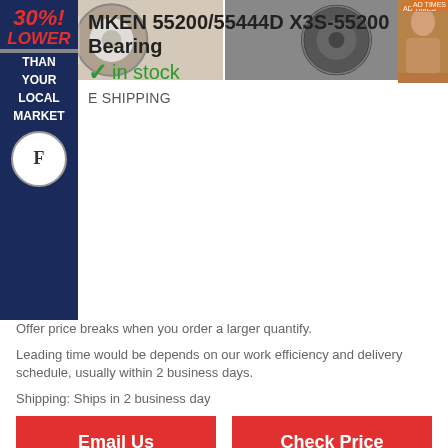[Figure (photo): Two bearing product images side by side: left shows a chrome bearing ring with plastic wrap, right shows a dark sealed bearing]
[Figure (infographic): Blue sidebar badge reading 30% LOWER THAN YOUR LOCAL MARKET with a seal/certification logo]
[Figure (photo): Small advertisement thumbnail on right showing a person]
MKEN 55200/55444D X3S-55200 Bearing
✓ in stock
FREE SHIPPING
Offer price breaks when you order a larger quantify.
Leading time would be depends on our work efficiency and delivery schedule, usually within 2 business days.
Shipping: Ships in 2 business day
Email Us
Check Price